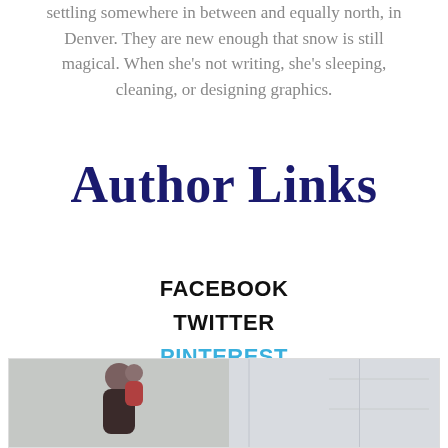settling somewhere in between and equally north, in Denver. They are new enough that snow is still magical. When she's not writing, she's sleeping, cleaning, or designing graphics.
Author Links
FACEBOOK
TWITTER
PINTEREST
INSTAGRAM
[Figure (photo): A photo showing two people, appears to be a parent and child, in a light-colored room]